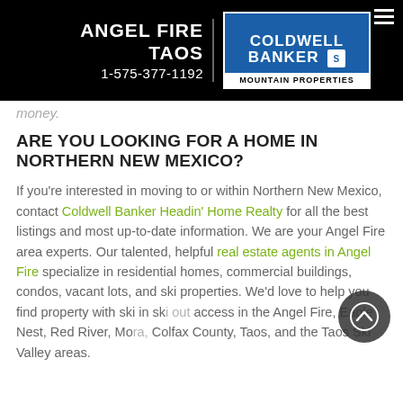ANGEL FIRE TAOS 1-575-377-1192 | Coldwell Banker Mountain Properties
money.
ARE YOU LOOKING FOR A HOME IN NORTHERN NEW MEXICO?
If you're interested in moving to or within Northern New Mexico, contact Coldwell Banker Headin' Home Realty for all the best listings and most up-to-date information. We are your Angel Fire area experts. Our talented, helpful real estate agents in Angel Fire specialize in residential homes, commercial buildings, condos, vacant lots, and ski properties. We'd love to help you find property with ski in ski out access in the Angel Fire, Eagle Nest, Red River, Mora, Colfax County, Taos, and the Taos Ski Valley areas.